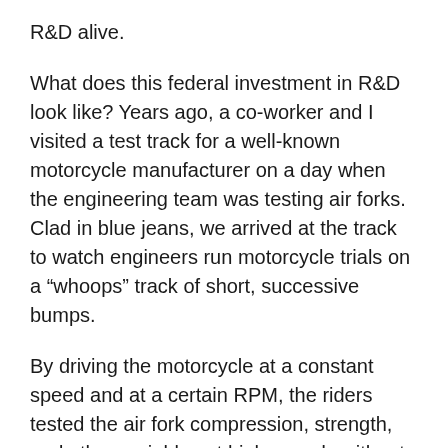R&D alive.
What does this federal investment in R&D look like? Years ago, a co-worker and I visited a test track for a well-known motorcycle manufacturer on a day when the engineering team was testing air forks. Clad in blue jeans, we arrived at the track to watch engineers run motorcycle trials on a “whoops” track of short, successive bumps.
By driving the motorcycle at a constant speed and at a certain RPM, the riders tested the air fork compression, strength, and other variables at high speeds without bottoming out. The test trials also assessed weight, stiffness, and overall performance. While standing in the middle of the track, the engineers running the